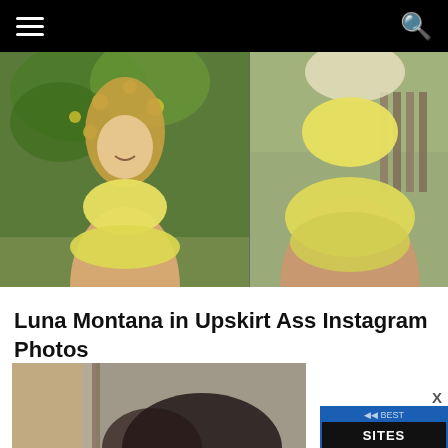Navigation header with hamburger menu and search icon
[Figure (photo): Two photos side by side of a young woman in a yellow outfit outdoors near a lemon tree]
Luna Montana in Upskirt Ass Instagram Photos
[Figure (photo): Partial photo of a person with dark hair, partially obscured by an advertisement overlay]
[Figure (screenshot): Blue advertisement overlay banner with white text partially visible at bottom right, with close X button]